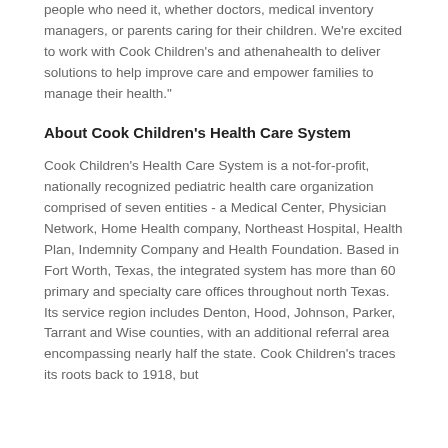people who need it, whether doctors, medical inventory managers, or parents caring for their children. We're excited to work with Cook Children's and athenahealth to deliver solutions to help improve care and empower families to manage their health."
About Cook Children's Health Care System
Cook Children's Health Care System is a not-for-profit, nationally recognized pediatric health care organization comprised of seven entities - a Medical Center, Physician Network, Home Health company, Northeast Hospital, Health Plan, Indemnity Company and Health Foundation. Based in Fort Worth, Texas, the integrated system has more than 60 primary and specialty care offices throughout north Texas. Its service region includes Denton, Hood, Johnson, Parker, Tarrant and Wise counties, with an additional referral area encompassing nearly half the state. Cook Children's traces its roots back to 1918, but